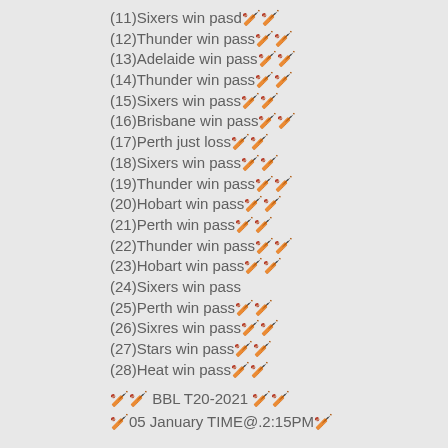(11)Sixers win pasd🏏
(12)Thunder win pass🏏
(13)Adelaide win pass🏏
(14)Thunder win pass🏏
(15)Sixers win pass🏏
(16)Brisbane win pass🏏
(17)Perth just loss🏏
(18)Sixers win pass🏏
(19)Thunder win pass🏏
(20)Hobart win pass🏏
(21)Perth win pass🏏
(22)Thunder win pass🏏
(23)Hobart win pass🏏
(24)Sixers win pass
(25)Perth win pass🏏
(26)Sixres win pass🏏
(27)Stars win pass🏏
(28)Heat win pass🏏
🏏 BBL T20-2021 🏏
🏏05 January TIME@.2:15PM🏏